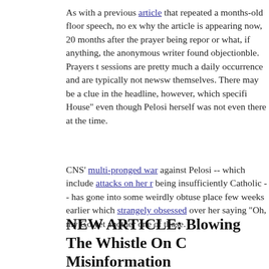As with a previous article that repeated a months-old floor speech, no explanation why the article is appearing now, 20 months after the prayer being reported, or what, if anything, the anonymous writer found objectionble. Prayers to open sessions are pretty much a daily occurrence and are typically not newsworthy themselves. There may be a clue in the headline, however, which specifically "House" even though Pelosi herself was not even there at the time.
CNS' multi-pronged war against Pelosi -- which include attacks on her r being insufficiently Catholic -- has gone into some weirdly obtuse place few weeks earlier which strangely obsessed over her saying "Oh, my Go yet another one of those.
Po
Updated: Monda
NEW ARTICLE: Blowing The Whistle On C Misinformation
Topic: WorldNetDaily
An issue of WorldNetDaily's Whistleblower magazine attacked the "ruli purportedly suppressing news of dubious treatments for coronavirus -- a